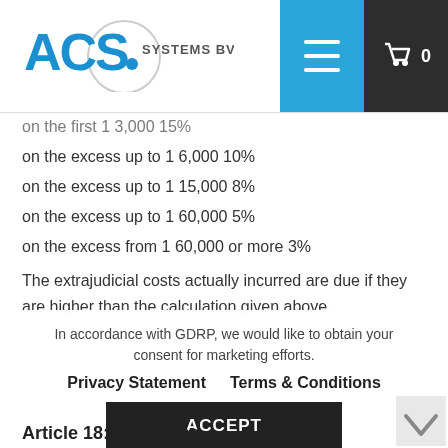ACS Systems BV
on the first 1 3,000 15%
on the excess up to 1 6,000 10%
on the excess up to 1 15,000 8%
on the excess up to 1 60,000 5%
on the excess from 1 60,000 or more 3%
The extrajudicial costs actually incurred are due if they are higher than the calculation given above.
In accordance with GDRP, we would like to obtain your consent for marketing efforts.
Privacy Statement    Terms & Conditions
ACCEPT
Article 18: Securities